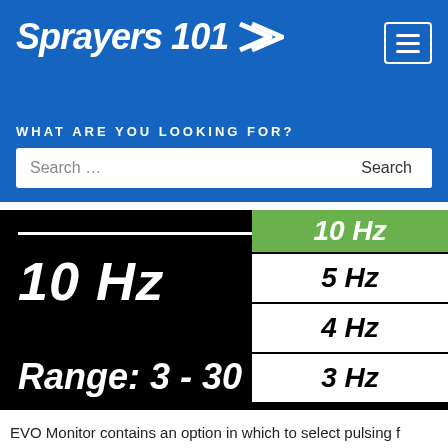Sprayers 101
WHAT ARE YOU LOOKING FOR?
Search ...
[Figure (screenshot): Device screen showing frequency selector with 10 Hz selected (left side, white italic on black background), right panel showing options: 10 Hz (green/selected), 5 Hz, 4 Hz, 3 Hz (white cells), and bottom text 'Range: 3 - 30 Hz']
EVO Monitor contains an option in which to select pulsing f...